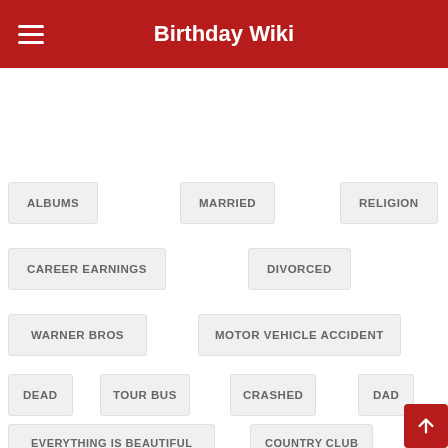Birthday Wiki
ALBUMS
MARRIED
RELIGION
CAREER EARNINGS
DIVORCED
WARNER BROS
MOTOR VEHICLE ACCIDENT
DEAD
TOUR BUS
CRASHED
DAD
EVERYTHING IS BEAUTIFUL
COUNTRY CLUB
KAREN RYON
JODI BARNETT